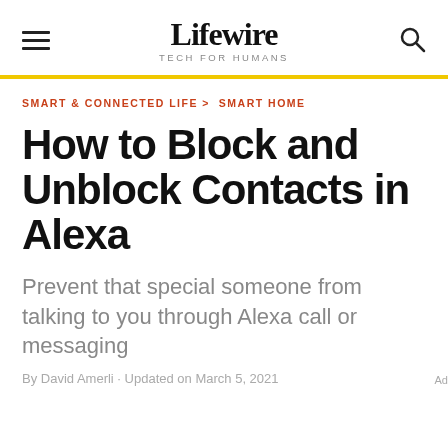Lifewire TECH FOR HUMANS
SMART & CONNECTED LIFE > SMART HOME
How to Block and Unblock Contacts in Alexa
Prevent that special someone from talking to you through Alexa call or messaging
By David Amerland · Updated on March 5, 2021